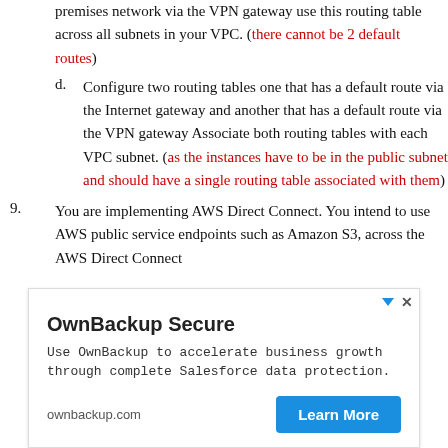premises network via the VPN gateway use this routing table across all subnets in your VPC. (there cannot be 2 default routes)
d. Configure two routing tables one that has a default route via the Internet gateway and another that has a default route via the VPN gateway Associate both routing tables with each VPC subnet. (as the instances have to be in the public subnet and should have a single routing table associated with them)
9. You are implementing AWS Direct Connect. You intend to use AWS public service endpoints such as Amazon S3, across the AWS Direct Connect
[Figure (other): OwnBackup Secure advertisement banner. Title: OwnBackup Secure. Description: Use OwnBackup to accelerate business growth through complete Salesforce data protection. URL: ownbackup.com. Button: Learn More]